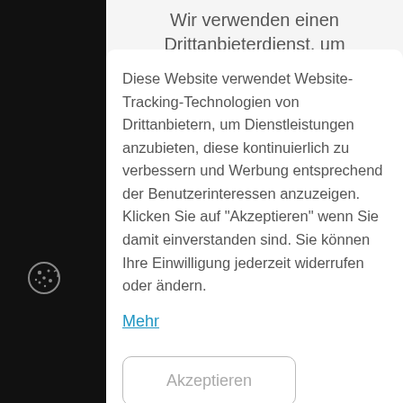Wir verwenden einen Drittanbieterdienst, um Videoinhalte einzubinden, die
Diese Website verwendet Website-Tracking-Technologien von Drittanbietern, um Dienstleistungen anzubieten, diese kontinuierlich zu verbessern und Werbung entsprechend der Benutzerinteressen anzuzeigen. Klicken Sie auf "Akzeptieren" wenn Sie damit einverstanden sind. Sie können Ihre Einwilligung jederzeit widerrufen oder ändern.
Mehr
Akzeptieren